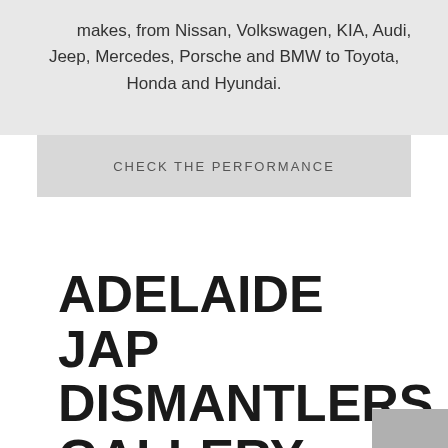makes, from Nissan, Volkswagen, KIA, Audi, Jeep, Mercedes, Porsche and BMW to Toyota, Honda and Hyundai.
CHECK THE PERFORMANCE
ADELAIDE JAP DISMANTLERS GALLERY: